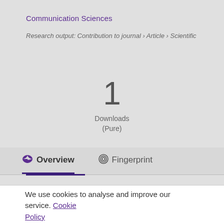Communication Sciences
Research output: Contribution to journal › Article › Scientific
1
Downloads
(Pure)
Overview   Fingerprint
We use cookies to analyse and improve our service. Cookie Policy